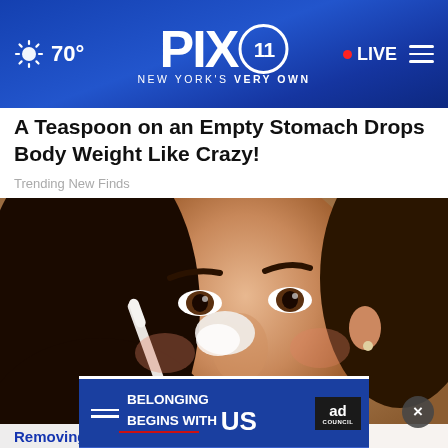PIX11 NEW YORK'S VERY OWN — 70° — LIVE
A Teaspoon on an Empty Stomach Drops Body Weight Like Crazy!
Trending New Finds
[Figure (photo): Close-up photo of a woman with dark hair applying white cream/paste to her nose with a brush or cotton swab]
[Figure (screenshot): Ad banner reading BELONGING BEGINS WITH US with Ad Council logo, overlaid on the main image with a close X button]
Removing Moles and Skin Tags Has Never Been